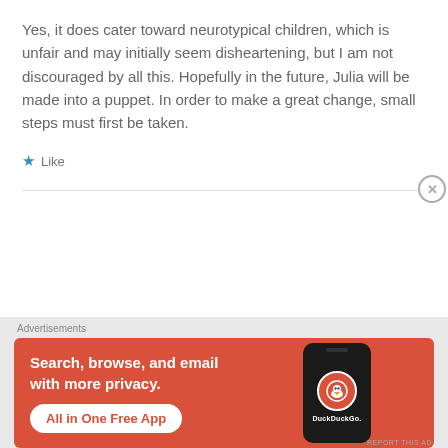Yes, it does cater toward neurotypical children, which is unfair and may initially seem disheartening, but I am not discouraged by all this. Hopefully in the future, Julia will be made into a puppet. In order to make a great change, small steps must first be taken.
★ Like
[Figure (screenshot): DuckDuckGo advertisement banner with orange background. Text: 'Search, browse, and email with more privacy. All in One Free App' with a smartphone image showing the DuckDuckGo logo.]
Advertisements